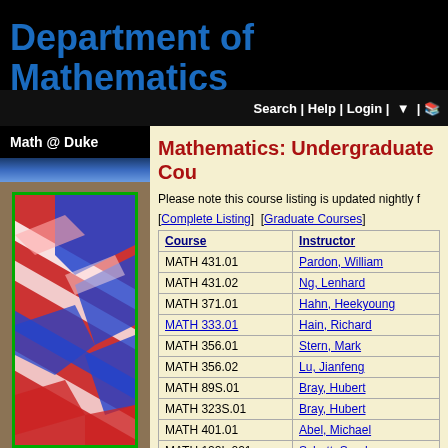Department of Mathematics
Search | Help | Login |
Math @ Duke
[Figure (illustration): Red-blue gradient heatmap image with diagonal wave patterns in a green-bordered frame]
Mathematics: Undergraduate Cou...
Please note this course listing is updated nightly f...
[Complete Listing]  [Graduate Courses]
| Course | Instructor |
| --- | --- |
| MATH 431.01 | Pardon, William |
| MATH 431.02 | Ng, Lenhard |
| MATH 371.01 | Hahn, Heekyoung |
| MATH 333.01 | Hain, Richard |
| MATH 356.01 | Stern, Mark |
| MATH 356.02 | Lu, Jianfeng |
| MATH 89S.01 | Bray, Hubert |
| MATH 323S.01 | Bray, Hubert |
| MATH 401.01 | Abel, Michael |
| MATH 122L.001 | Schott, Sarah |
| MATH 122L.01L | Schott, Sarah |